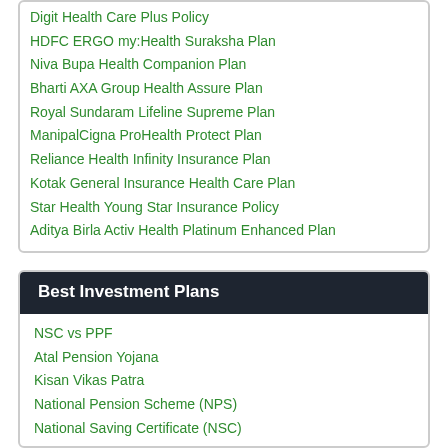Digit Health Care Plus Policy
HDFC ERGO my:Health Suraksha Plan
Niva Bupa Health Companion Plan
Bharti AXA Group Health Assure Plan
Royal Sundaram Lifeline Supreme Plan
ManipalCigna ProHealth Protect Plan
Reliance Health Infinity Insurance Plan
Kotak General Insurance Health Care Plan
Star Health Young Star Insurance Policy
Aditya Birla Activ Health Platinum Enhanced Plan
Best Investment Plans
NSC vs PPF
Atal Pension Yojana
Kisan Vikas Patra
National Pension Scheme (NPS)
National Saving Certificate (NSC)